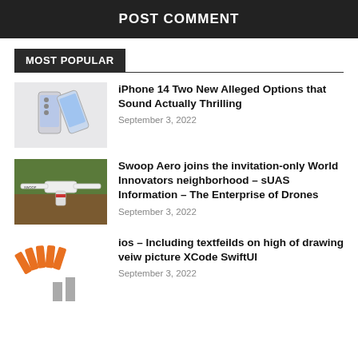POST COMMENT
MOST POPULAR
iPhone 14 Two New Alleged Options that Sound Actually Thrilling
September 3, 2022
Swoop Aero joins the invitation-only World Innovators neighborhood – sUAS Information – The Enterprise of Drones
September 3, 2022
ios – Including textfeilds on high of drawing veiw picture XCode SwiftUI
September 3, 2022